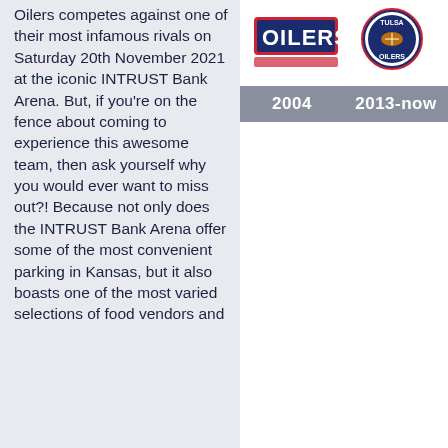Oilers competes against one of their most infamous rivals on Saturday 20th November 2021 at the iconic INTRUST Bank Arena. But, if you're on the fence about coming to experience this awesome team, then ask yourself why you would ever want to miss out?! Because not only does the INTRUST Bank Arena offer some of the most convenient parking in Kansas, but it also boasts one of the most varied selections of food vendors and
[Figure (logo): Two Tulsa Oilers logos side by side — 2004 era logo on the left (red/blue text style) and 2013-now logo on the right (circular badge with football)]
| 2004 | 2013-now |
| --- | --- |